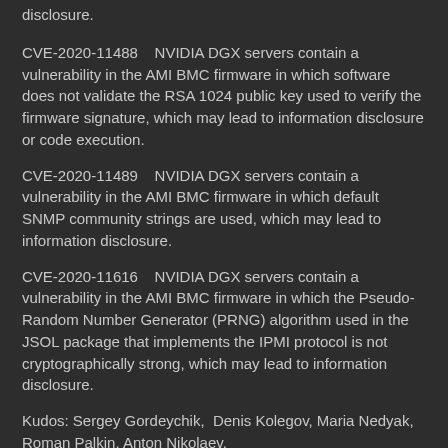disclosure.
CVE-2020-11488    NVIDIA DGX servers contain a vulnerability in the AMI BMC firmware in which software does not validate the RSA 1024 public key used to verify the firmware signature, which may lead to information disclosure or code execution.
CVE-2020-11489    NVIDIA DGX servers contain a vulnerability in the AMI BMC firmware in which default SNMP community strings are used, which may lead to information disclosure.
CVE-2020-11616    NVIDIA DGX servers contain a vulnerability in the AMI BMC firmware in which the Pseudo-Random Number Generator (PRNG) algorithm used in the JSOL package that implements the IPMI protocol is not cryptographically strong, which may lead to information disclosure.
Kudos: Sergey Gordeychik,  Denis Kolegov, Maria Nedyak, Roman Palkin, Anton Nikolaev.